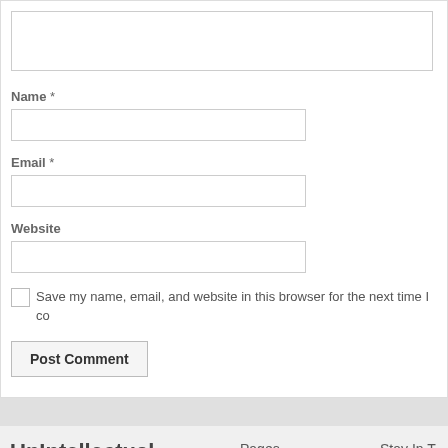Name *
Email *
Website
Save my name, email, and website in this browser for the next time I co
Post Comment
UnIntellectual
Pages
Stay In T